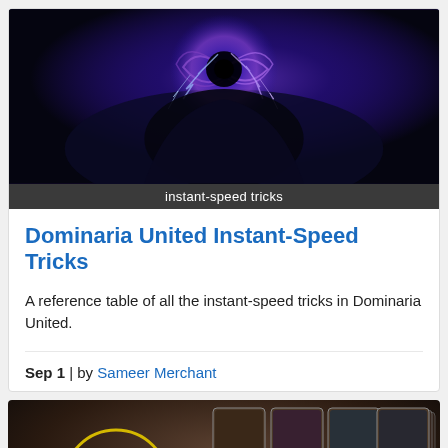[Figure (photo): Fantasy art image with purple/blue magical vortex and creature, for Magic: The Gathering article]
instant-speed tricks
Dominaria United Instant-Speed Tricks
A reference table of all the instant-speed tricks in Dominaria United.
Sep 1 | by Sameer Merchant
[Figure (photo): Magic: The Gathering gameplay screenshot showing cards on a battlefield with creature tokens and power/toughness counters]